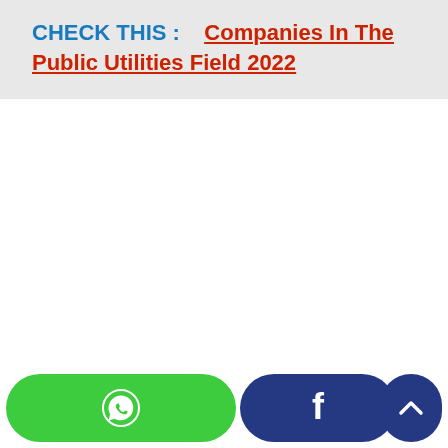CHECK THIS :   Companies In The Public Utilities Field 2022
WhatsApp share button | Facebook share button | Back to top button